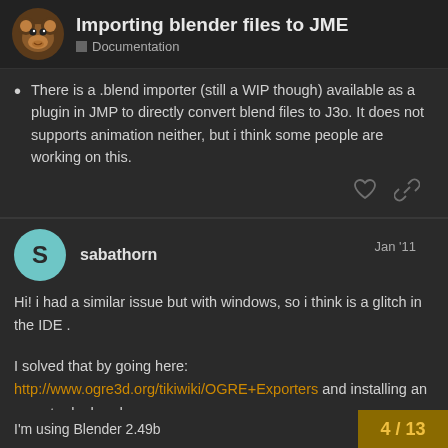Importing blender files to JME — Documentation
There is a .blend importer (still a WIP though) available as a plugin in JMP to directly convert blend files to J3o. It does not supports animation neither, but i think some people are working on this.
sabathorn  Jan '11
Hi! i had a similar issue but with windows, so i think is a glitch in the IDE .
I solved that by going here: http://www.ogre3d.org/tikiwiki/OGRE+Exporters and installing an exporter by hand.
I'm using Blender 2.49b
4 / 13